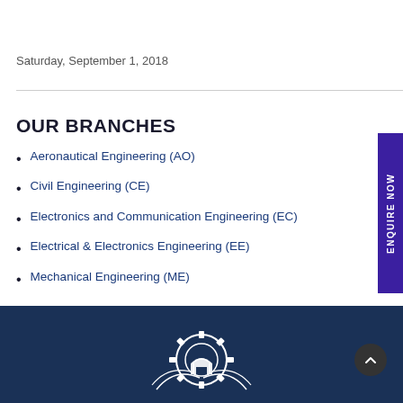Saturday, September 1, 2018
OUR BRANCHES
Aeronautical Engineering (AO)
Civil Engineering (CE)
Electronics and Communication Engineering (EC)
Electrical & Electronics Engineering (EE)
Mechanical Engineering (ME)
[Figure (logo): Engineering college gear/logo emblem at the bottom of the page in white on dark blue background]